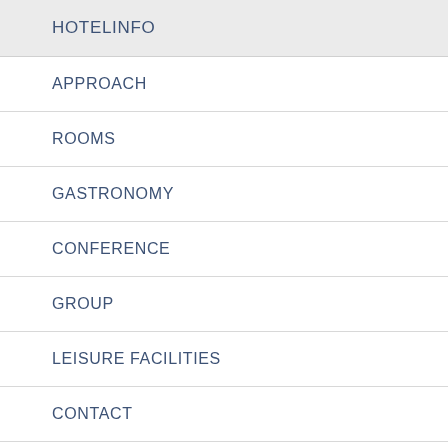HOTELINFO
APPROACH
ROOMS
GASTRONOMY
CONFERENCE
GROUP
LEISURE FACILITIES
CONTACT
City Partner Hotel Europa
Kaiser-Wilhelm-Ring 26